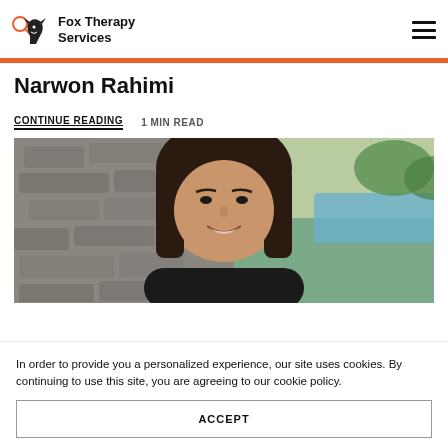Fox Therapy Services
Narwon Rahimi
CONTINUE READING   1 MIN READ
[Figure (photo): Portrait photo of Narwon Rahimi, a woman with long dark hair, smiling, standing in front of a stone wall with greenery and a pool visible in the background.]
In order to provide you a personalized experience, our site uses cookies. By continuing to use this site, you are agreeing to our cookie policy.
ACCEPT